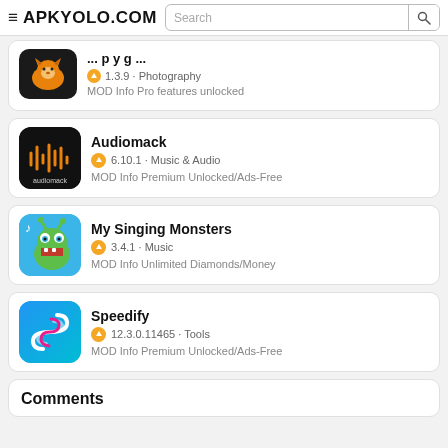≡ APKYOLO.COM [Search] 🔍
[Figure (screenshot): Partial app card with orange fox icon, version 1.3.9 · Photography, MOD Info Pro features unlocked]
[Figure (screenshot): Audiomack app icon — dark background with orange waveform and audiomack text]
Audiomack
6.10.1 · Music & Audio
MOD Info Premium Unlocked/Ads-Free
[Figure (screenshot): My Singing Monsters app icon — blue background with cartoon monster]
My Singing Monsters
3.4.1 · Music
MOD Info Unlimited Diamonds/Money
[Figure (screenshot): Speedify app icon — blue gradient background with S-shaped lines logo]
Speedify
12.3.0.11465 · Tools
MOD Info Premium Unlocked/Ads-Free
Comments